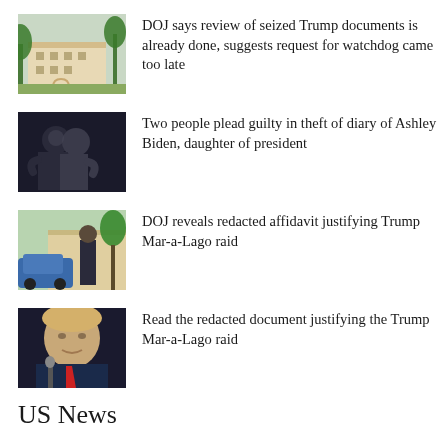[Figure (photo): Exterior of Mar-a-Lago estate with palm trees]
DOJ says review of seized Trump documents is already done, suggests request for watchdog came too late
[Figure (photo): Two people embracing in dark setting]
Two people plead guilty in theft of diary of Ashley Biden, daughter of president
[Figure (photo): Police officer standing outside Mar-a-Lago]
DOJ reveals redacted affidavit justifying Trump Mar-a-Lago raid
[Figure (photo): Donald Trump at podium with microphone]
Read the redacted document justifying the Trump Mar-a-Lago raid
US News